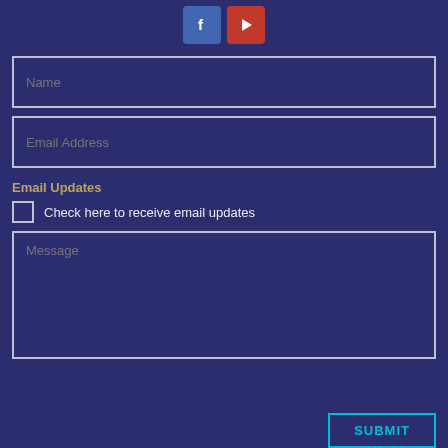[Figure (other): Social media icons row: Facebook (blue) and YouTube (red) icon buttons centered at top]
Name
Email Address
Email Updates
Check here to receive email updates
Message
SUBMIT